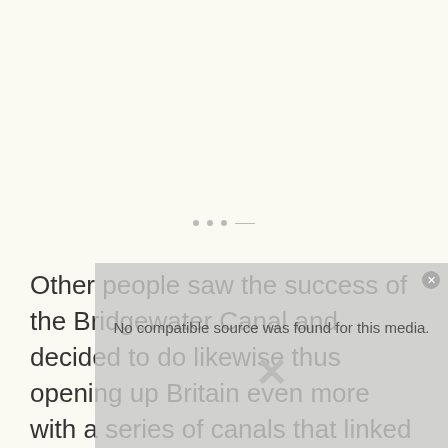Other people saw the success of the Bridgewater Canal and decided to do likewise thus opening up Britain even more with a series of canals that linked the major industrial centres of Britain.
[Figure (other): Media player overlay showing 'No compatible source was found for this media.' with a grey background and an X dismiss button in the corner.]